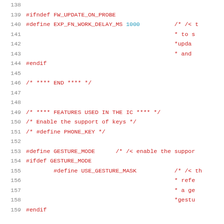138
139  #ifndef FW_UPDATE_ON_PROBE
140  #define EXP_FN_WORK_DELAY_MS 1000   /* /< t
141                                         * to s
142                                         *upda
143                                         * and
144  #endif
145
146  /* **** END **** */
147
148
149  /* **** FEATURES USED IN THE IC **** */
150  /* Enable the support of keys */
151  /* #define PHONE_KEY */
152
153  #define GESTURE_MODE   /* /< enable the support
154  #ifdef GESTURE_MODE
155       #define USE_GESTURE_MASK    /* /< th
156                                         * refe
157                                         * a ge
158                                         *gestu
159  #endif